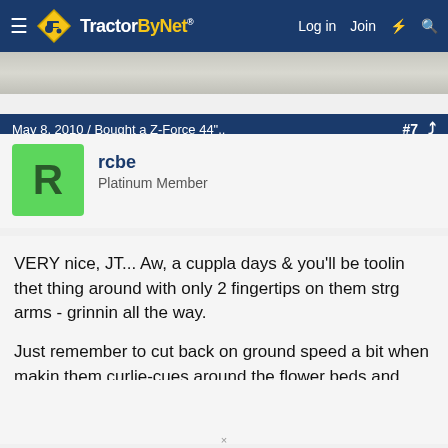TractorByNet — Log in  Join
[Figure (photo): Partial photo strip showing a grayish textured surface, cropped at top]
May 8, 2010 / Bought a Z-Force 44"..  #7
rcbe
Platinum Member
VERY nice, JT... Aw, a cuppla days & you'll be toolin thet thing around with only 2 fingertips on them strg arms - grinnin all the way.

Just remember to cut back on ground speed a bit when makin them curlie-cues around the flower beds and trees - don't